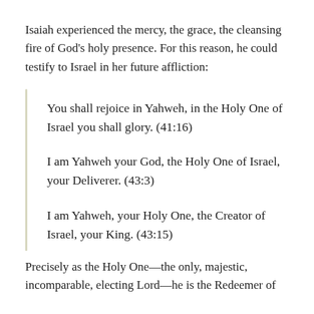Isaiah experienced the mercy, the grace, the cleansing fire of God's holy presence. For this reason, he could testify to Israel in her future affliction:
You shall rejoice in Yahweh, in the Holy One of Israel you shall glory. (41:16)
I am Yahweh your God, the Holy One of Israel, your Deliverer. (43:3)
I am Yahweh, your Holy One, the Creator of Israel, your King. (43:15)
Precisely as the Holy One—the only, majestic, incomparable, electing Lord—he is the Redeemer of